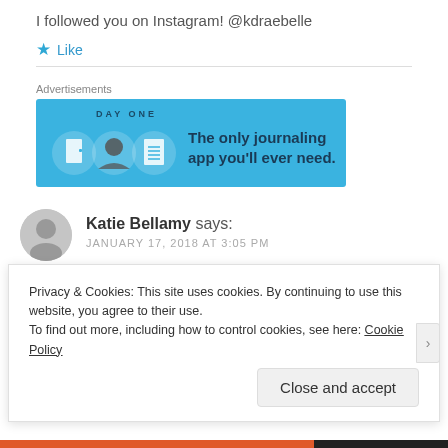I followed you on Instagram! @kdraebelle
★ Like
[Figure (infographic): Day One app advertisement banner with blue background, three circular icons (door, person, notebook), and text 'The only journaling app you'll ever need.']
Katie Bellamy says:
JANUARY 17, 2018 AT 3:05 PM
Privacy & Cookies: This site uses cookies. By continuing to use this website, you agree to their use.
To find out more, including how to control cookies, see here: Cookie Policy
Close and accept